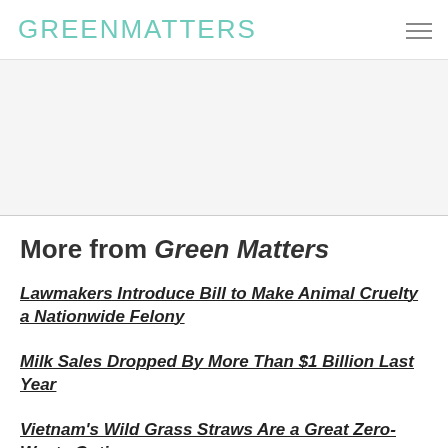GREENMATTERS
[Figure (other): Advertisement/banner area placeholder (light gray background)]
More from Green Matters
Lawmakers Introduce Bill to Make Animal Cruelty a Nationwide Felony
Milk Sales Dropped By More Than $1 Billion Last Year
Vietnam's Wild Grass Straws Are a Great Zero-Waste Option